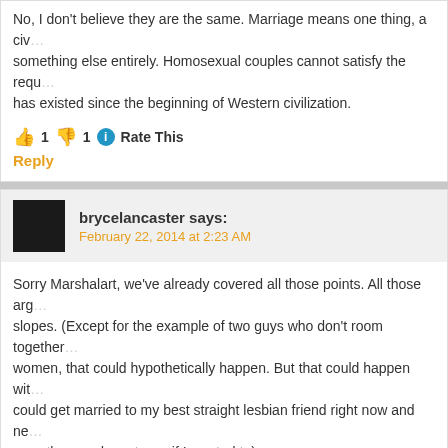No, I don't believe they are the same. Marriage means one thing, a civil union is something else entirely. Homosexual couples cannot satisfy the requirements of marriage as it has existed since the beginning of Western civilization.
👍 1 👎 1 ℹ Rate This
Reply
brycelancaster says:
February 22, 2014 at 2:23 AM
Sorry Marshalart, we've already covered all those points. All those arguments are slippery slopes. (Except for the example of two guys who don't room together with women, that could hypothetically happen. But that could happen with... I could get married to my best straight lesbian friend right now and never have sex and save thousands on taxes if I wanted to).
And as for all the reasons to give same-sex couples the benefits… just read the list above. Or you could consider educating yourself about how same-sex couples are just as capable of showing love and commitment as opposite-sex couples.
👍 0 👎 0 ℹ Rate This
Reply